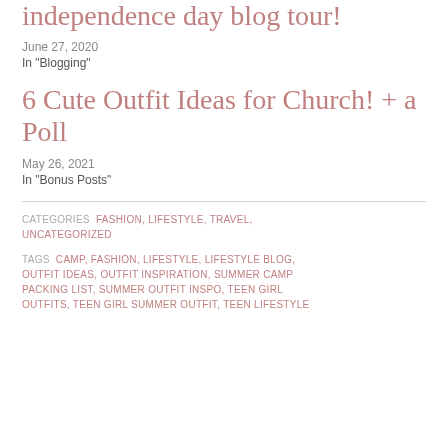independence day blog tour!
June 27, 2020
In "Blogging"
6 Cute Outfit Ideas for Church! + a Poll
May 26, 2021
In "Bonus Posts"
CATEGORIES  FASHION, LIFESTYLE, TRAVEL, UNCATEGORIZED
TAGS  CAMP, FASHION, LIFESTYLE, LIFESTYLE BLOG, OUTFIT IDEAS, OUTFIT INSPIRATION, SUMMER CAMP PACKING LIST, SUMMER OUTFIT INSPO, TEEN GIRL OUTFITS, TEEN GIRL SUMMER OUTFIT, TEEN LIFESTYLE